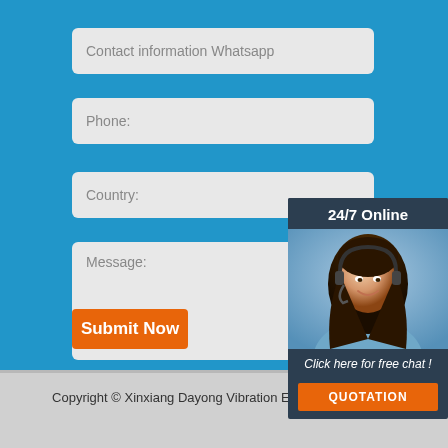Contact information Whatsapp
Phone:
Country:
Message:
24/7 Online
Click here for free chat !
QUOTATION
Submit Now
[Figure (logo): TOP logo with orange dots arranged in triangle shape above the word TOP]
Copyright © Xinxiang Dayong Vibration Equipment Co., Ltd.